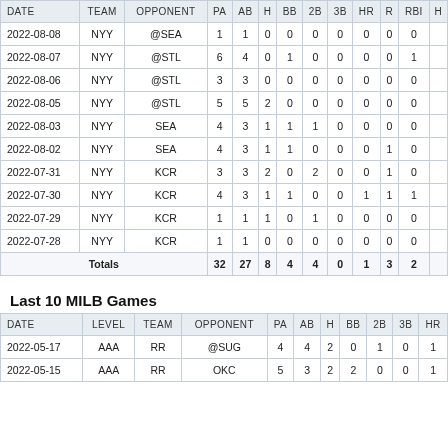| DATE | TEAM | OPPONENT | PA | AB | H | BB | 2B | 3B | HR | R | RBI | H |
| --- | --- | --- | --- | --- | --- | --- | --- | --- | --- | --- | --- | --- |
| 2022-08-08 | NYY | @SEA | 1 | 1 | 0 | 0 | 0 | 0 | 0 | 0 | 0 |  |
| 2022-08-07 | NYY | @STL | 6 | 4 | 0 | 1 | 0 | 0 | 0 | 0 | 1 |  |
| 2022-08-06 | NYY | @STL | 3 | 3 | 0 | 0 | 0 | 0 | 0 | 0 | 0 |  |
| 2022-08-05 | NYY | @STL | 5 | 5 | 2 | 0 | 0 | 0 | 0 | 0 | 0 |  |
| 2022-08-03 | NYY | SEA | 4 | 3 | 1 | 1 | 1 | 0 | 0 | 0 | 0 |  |
| 2022-08-02 | NYY | SEA | 4 | 3 | 1 | 1 | 0 | 0 | 0 | 1 | 0 |  |
| 2022-07-31 | NYY | KCR | 3 | 3 | 2 | 0 | 2 | 0 | 0 | 1 | 0 |  |
| 2022-07-30 | NYY | KCR | 4 | 3 | 1 | 1 | 0 | 0 | 1 | 1 | 1 |  |
| 2022-07-29 | NYY | KCR | 1 | 1 | 1 | 0 | 1 | 0 | 0 | 0 | 0 |  |
| 2022-07-28 | NYY | KCR | 1 | 1 | 0 | 0 | 0 | 0 | 0 | 0 | 0 |  |
| Totals |  |  | 32 | 27 | 8 | 4 | 4 | 0 | 1 | 3 | 2 |  |
Last 10 MILB Games
| DATE | LEVEL | TEAM | OPPONENT | PA | AB | H | BB | 2B | 3B | HR |
| --- | --- | --- | --- | --- | --- | --- | --- | --- | --- | --- |
| 2022-05-17 | AAA | RR | @SUG | 4 | 4 | 2 | 0 | 1 | 0 | 1 |
| 2022-05-15 | AAA | RR | OKC | 5 | 3 | 2 | 2 | 0 | 0 | 1 |